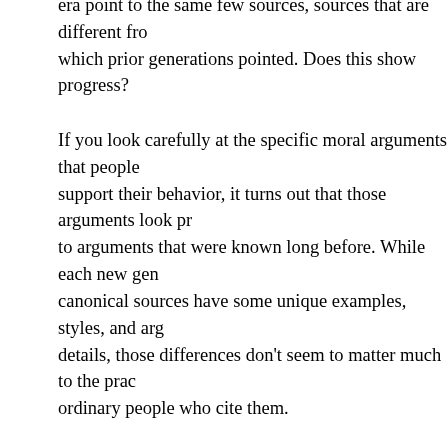era point to the same few sources, sources that are different from those which prior generations pointed. Does this show progress?
If you look carefully at the specific moral arguments that people use to support their behavior, it turns out that those arguments look pretty similar to arguments that were known long before. While each new generation's canonical sources have some unique examples, styles, and argumentative details, those differences don't seem to matter much to the practices of ordinary people who cite them.
This situation seems in sharp contrast to the case of progress in statistics, for example, where the details of each new statistical test or estimator show up clearly and matter greatly to applications of those stats. It seems more consistent with moral arguments being used to justify behaviors that would have happened anyway, rather than having moral arguments cause important changes in behavior.
Yes, some old moral arguments may well have been forgotten for a while, and thus need to be reinvented by newer sources. For example, while ancient sources plausibly expressed thoughtful critiques of slavery and gender inequality, recent critics of such things may well have not